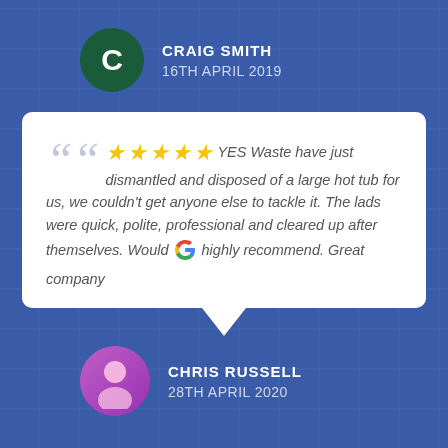CRAIG SMITH
16TH APRIL 2019
★★★★★ YES Waste have just dismantled and disposed of a large hot tub for us, we couldn't get anyone else to tackle it. The lads were quick, polite, professional and cleared up after themselves. Would highly recommend. Great company
CHRIS RUSSELL
28TH APRIL 2020